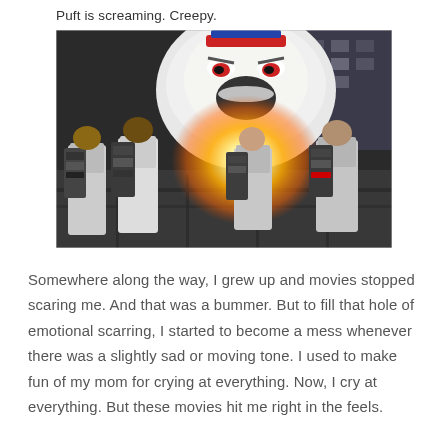Puft is screaming. Creepy.
[Figure (photo): Scene from Ghostbusters showing the Ghostbusters firing their proton packs at the Stay Puft Marshmallow Man, who is screaming with an angry expression. The Ghostbusters are seen from behind wearing their proton pack equipment. Bright explosion light in the center of the image.]
Somewhere along the way, I grew up and movies stopped scaring me. And that was a bummer. But to fill that hole of emotional scarring, I started to become a mess whenever there was a slightly sad or moving tone. I used to make fun of my mom for crying at everything. Now, I cry at everything. But these movies hit me right in the feels.